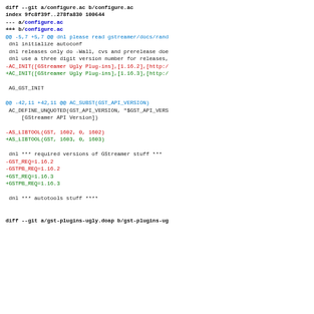diff --git a/configure.ac b/configure.ac
index 9fc8f39f..278fa830 100644
--- a/configure.ac
+++ b/configure.ac
@@ -5,7 +5,7 @@ dnl please read gstreamer/docs/rand
 dnl initialize autoconf
 dnl releases only do -Wall, cvs and prerelease doe
 dnl use a three digit version number for releases,
-AC_INIT([GStreamer Ugly Plug-ins],[1.16.2],[http:/
+AC_INIT([GStreamer Ugly Plug-ins],[1.16.3],[http:/

 AG_GST_INIT

@@ -42,11 +42,11 @@ AC_SUBST(GST_API_VERSION)
 AC_DEFINE_UNQUOTED(GST_API_VERSION, "$GST_API_VERS
     [GStreamer API Version])

-AS_LIBTOOL(GST, 1602, 0, 1602)
+AS_LIBTOOL(GST, 1603, 0, 1603)

 dnl *** required versions of GStreamer stuff ***
-GST_REQ=1.16.2
-GSTPB_REQ=1.16.2
+GST_REQ=1.16.3
+GSTPB_REQ=1.16.3

 dnl *** autotools stuff ****


diff --git a/gst-plugins-ugly.doap b/gst-plugins-ug